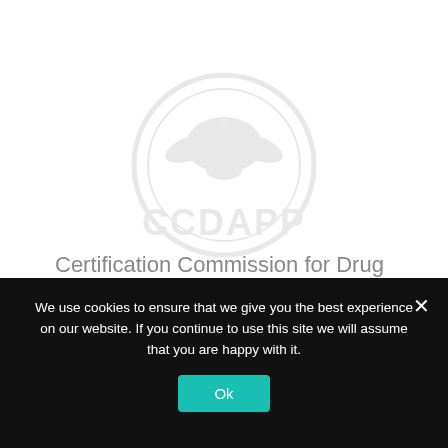[Figure (logo): CCDAPP watermark logo — faint gray circular emblem with eagle and 'CCDAPP' text beneath]
Certification Commission for Drug and Alcohol Program Professionals ( CCDAPP)
Proud Members
We use cookies to ensure that we give you the best experience on our website. If you continue to use this site we will assume that you are happy with it.